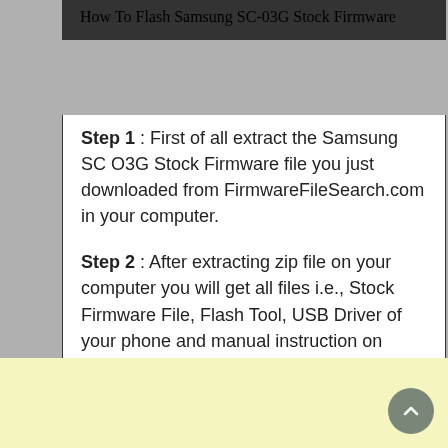How To Flash Samsung SC-03G Stock Firmware
Step 1 : First of all extract the Samsung SC O3G Stock Firmware file you just downloaded from FirmwareFileSearch.com in your computer.
Step 2 : After extracting zip file on your computer you will get all files i.e., Stock Firmware File, Flash Tool, USB Driver of your phone and manual instruction on